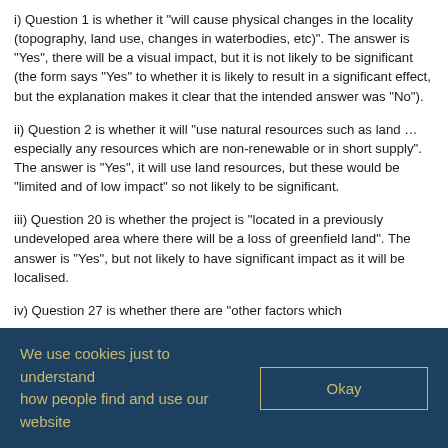i) Question 1 is whether it "will cause physical changes in the locality (topography, land use, changes in waterbodies, etc)". The answer is "Yes", there will be a visual impact, but it is not likely to be significant (the form says "Yes" to whether it is likely to result in a significant effect, but the explanation makes it clear that the intended answer was "No").
ii) Question 2 is whether it will "use natural resources such as land ... especially any resources which are non-renewable or in short supply". The answer is "Yes", it will use land resources, but these would be "limited and of low impact" so not likely to be significant.
iii) Question 20 is whether the project is "located in a previously undeveloped area where there will be a loss of greenfield land". The answer is "Yes", but not likely to have significant impact as it will be localised.
iv) Question 27 is whether there are "other factors which
We use cookies just to understand how people find and use our website